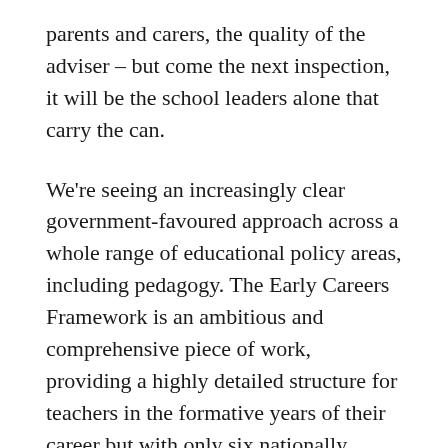parents and carers, the quality of the adviser – but come the next inspection, it will be the school leaders alone that carry the can.
We're seeing an increasingly clear government-favoured approach across a whole range of educational policy areas, including pedagogy. The Early Careers Framework is an ambitious and comprehensive piece of work, providing a highly detailed structure for teachers in the formative years of their career but with only six nationally approved providers, who are producing materials showing a high level of consistency – some differences in approach, but few in content or philosophy. Not since the days of the National